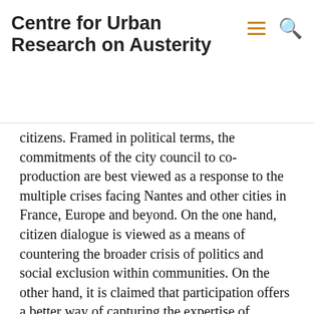Centre for Urban Research on Austerity
citizens. Framed in political terms, the commitments of the city council to co-production are best viewed as a response to the multiple crises facing Nantes and other cities in France, Europe and beyond. On the one hand, citizen dialogue is viewed as a means of countering the broader crisis of politics and social exclusion within communities. On the other hand, it is claimed that participation offers a better way of capturing the expertise of citizens as service-users, thus offsetting the deficiencies of traditional models of public service delivery.
But how are we to make sense of such participatory engagements? How does such